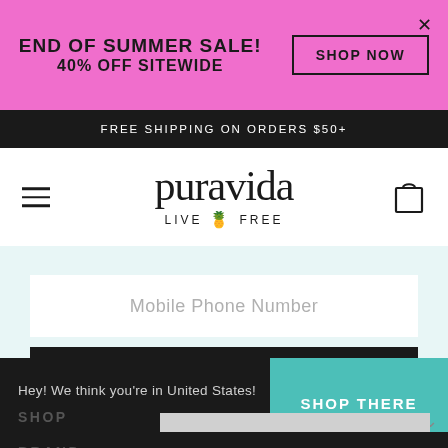END OF SUMMER SALE! 40% OFF SITEWIDE  SHOP NOW
FREE SHIPPING ON ORDERS $50+
[Figure (logo): Pura Vida logo with text 'puravida' and tagline 'LIVE FREE' with pineapple icon]
Mobile Phone Number
SIGN ME UP!
Hey! We think you're in United States!
SHOP THERE
SHOP
STAY HERE
BRAND